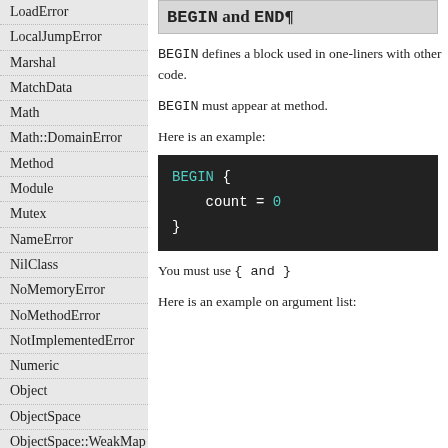LoadError
LocalJumpError
Marshal
MatchData
Math
Math::DomainError
Method
Module
Mutex
NameError
NilClass
NoMemoryError
NoMethodError
NotImplementedError
Numeric
Object
ObjectSpace
ObjectSpace::WeakMap
Proc
Process
Process::GID
BEGIN and END¶
BEGIN defines a block used in one-liners with other code.
BEGIN must appear at method.
Here is an example:
[Figure (screenshot): Code block showing: BEGIN { count = 0 }]
You must use { and }
Here is an example on argument list: